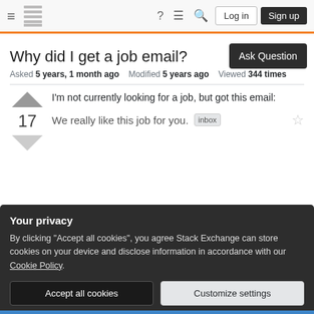Stack Exchange navigation bar with hamburger menu, logo, help, chat, search, Log in, Sign up buttons
Why did I get a job email?
Asked 5 years, 1 month ago   Modified 5 years ago   Viewed 344 times
I'm not currently looking for a job, but got this email:
We really like this job for you. inbox
Your privacy
By clicking "Accept all cookies", you agree Stack Exchange can store cookies on your device and disclose information in accordance with our Cookie Policy.
Accept all cookies
Customize settings